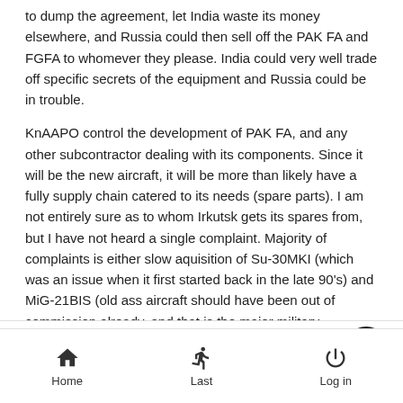to dump the agreement, let India waste its money elsewhere, and Russia could then sell off the PAK FA and FGFA to whomever they please.  India could very well trade off specific secrets of the equipment and Russia could be in trouble.
KnAAPO control the development of PAK FA, and any other subcontractor dealing with its components. Since it will be the new aircraft, it will be more than likely have a fully supply chain catered to its needs (spare parts). I am not entirely sure as to whom Irkutsk gets its spares from, but I have not heard a single complaint. Majority of complaints is either slow aquisition of Su-30MKI (which was an issue when it first started back in the late 90's) and MiG-21BIS (old ass aircraft should have been out of commission already, and that is the major military equipment that Indians love to use against Russia in the media).
Like  Dislike  Home  Last  Log in